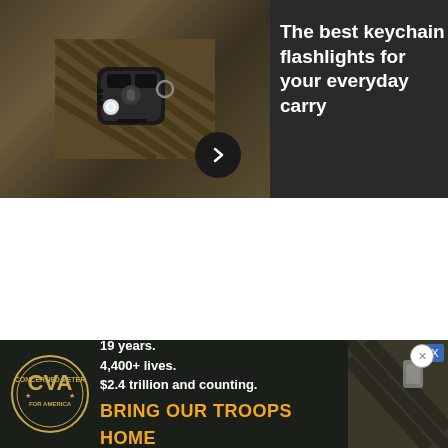[Figure (screenshot): Advertisement showing a keychain flashlight on tactical fabric background with text 'The best keychain flashlights for your everyday carry' and a forward arrow button. Progress bar and X close button visible.]
[Figure (screenshot): Advertisement with dark background showing text 'Join the study that could change everything' with an orange 'GET STARTED' button and a face photo on the right.]
Stitt has framed the issue around “personal freedoms,” arguing in a Nov. 1 letter to Defense Secret[...] forces [...] tially sacrifi[...] e their jobs.
[Figure (screenshot): Advertisement for Concerned Veterans for America showing CVA logo, text '19 years. 4,400+ lives. $2.4 trillion and counting.' and 'BRING OUR TROOPS HOME' in orange text. Military background image on right.]